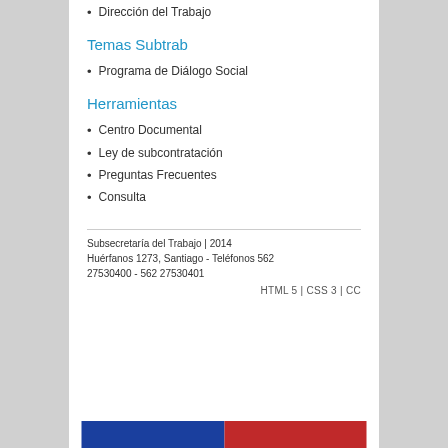Dirección del Trabajo
Temas Subtrab
Programa de Diálogo Social
Herramientas
Centro Documental
Ley de subcontratación
Preguntas Frecuentes
Consulta
Subsecretaría del Trabajo | 2014
Huérfanos 1273, Santiago - Teléfonos 562 27530400 - 562 27530401
HTML 5 | CSS 3 | CC